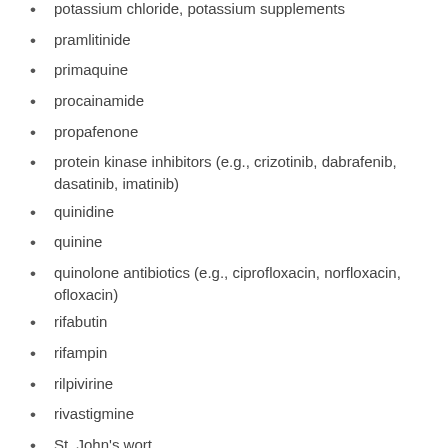potassium chloride, potassium supplements
pramlitinide
primaquine
procainamide
propafenone
protein kinase inhibitors (e.g., crizotinib, dabrafenib, dasatinib, imatinib)
quinidine
quinine
quinolone antibiotics (e.g., ciprofloxacin, norfloxacin, ofloxacin)
rifabutin
rifampin
rilpivirine
rivastigmine
St. John's wort
scopolamine
selective serotonin reuptake inhibitors (SSRI; e.g.,